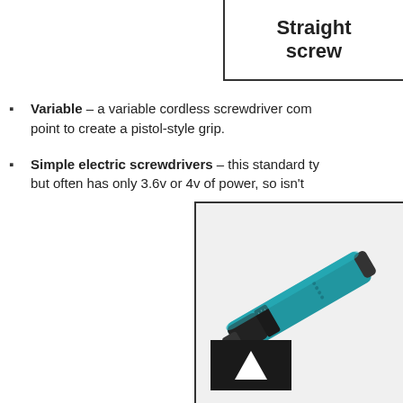Straight screwdriver
Variable – a variable cordless screwdriver comes with a pivot point to create a pistol-style grip.
Simple electric screwdrivers – this standard type but often has only 3.6v or 4v of power, so isn't
[Figure (photo): Photo of a teal/blue cordless straight screwdriver (Makita-style) with black chuck end, shown at an angle]